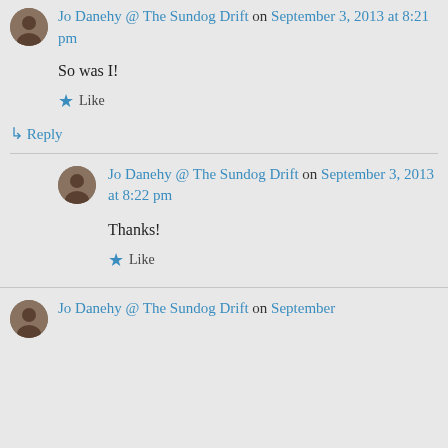Jo Danehy @ The Sundog Drift on September 3, 2013 at 8:21 pm
So was I!
Like
Reply
Jo Danehy @ The Sundog Drift on September 3, 2013 at 8:22 pm
Thanks!
Like
Jo Danehy @ The Sundog Drift on September